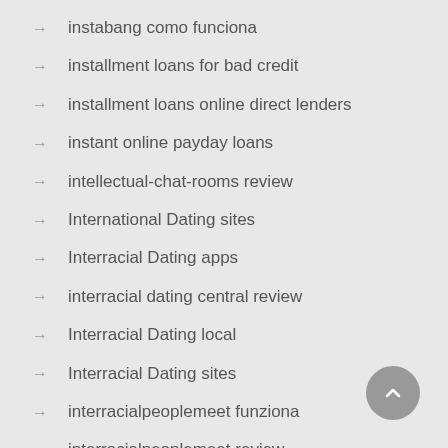instabang como funciona
installment loans for bad credit
installment loans online direct lenders
instant online payday loans
intellectual-chat-rooms review
International Dating sites
Interracial Dating apps
interracial dating central review
Interracial Dating local
Interracial Dating sites
interracialpeoplemeet funziona
interracialpeoplemeet review